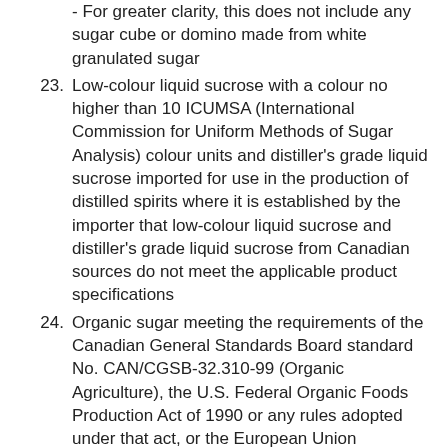- For greater clarity, this does not include any sugar cube or domino made from white granulated sugar
23. Low-colour liquid sucrose with a colour no higher than 10 ICUMSA (International Commission for Uniform Methods of Sugar Analysis) colour units and distiller's grade liquid sucrose imported for use in the production of distilled spirits where it is established by the importer that low-colour liquid sucrose and distiller's grade liquid sucrose from Canadian sources do not meet the applicable product specifications
24. Organic sugar meeting the requirements of the Canadian General Standards Board standard No. CAN/CGSB-32.310-99 (Organic Agriculture), the U.S. Federal Organic Foods Production Act of 1990 or any rules adopted under that act, or the European Union EN2092/94 (Organic Regulation), where it is accompanied by a transaction certificate affirming compliance with the standard signed by an ISO